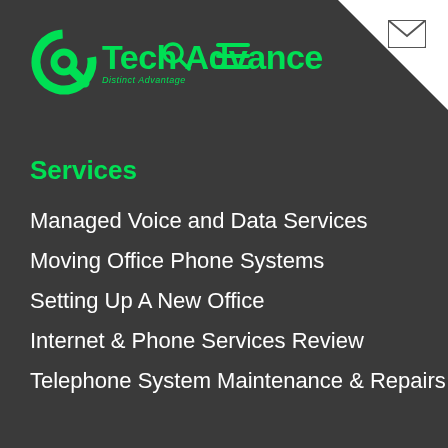Tech Advance — Distinct Advantage
Services
Managed Voice and Data Services
Moving Office Phone Systems
Setting Up A New Office
Internet & Phone Services Review
Telephone System Maintenance & Repairs